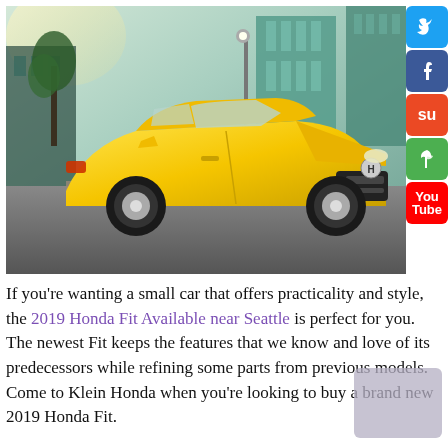[Figure (photo): A yellow 2019 Honda Fit parked on an urban street with buildings and trees in the background. Social media icons (Twitter, Facebook, StumbleUpon, a green icon, YouTube) are overlaid on the right edge of the photo.]
If you're wanting a small car that offers practicality and style, the 2019 Honda Fit Available near Seattle is perfect for you. The newest Fit keeps the features that we know and love of its predecessors while refining some parts from previous models. Come to Klein Honda when you're looking to buy a brand new 2019 Honda Fit.